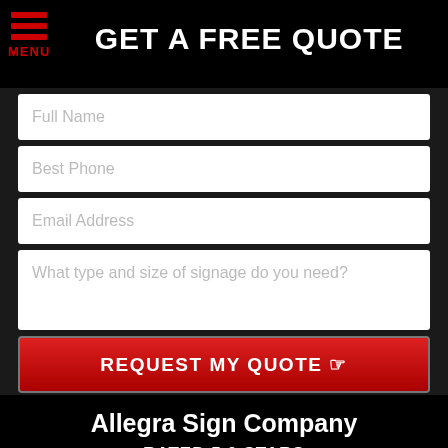GET A FREE QUOTE
[Figure (other): Hamburger menu icon with red lines and MENU label]
Full Name
Best Phone
Email Address
What type and size of signage do you need?
REQUEST MY QUOTE ☞
Allegra Sign Company
RATED 5.0 STARS
[Figure (other): Five gold star rating icons]
(Based on 38 Client Reviews)
[Figure (other): Phone call button (red circle with phone icon) and email button (red circle with envelope icon)]